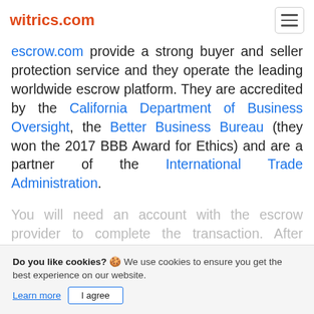witrics.com
escrow.com provide a strong buyer and seller protection service and they operate the leading worldwide escrow platform. They are accredited by the California Department of Business Oversight, the Better Business Bureau (they won the 2017 BBB Award for Ethics) and are a partner of the International Trade Administration.
You will need an account with the escrow provider to complete the transaction. After clicking the "Bu... button, you can log in if
Do you like cookies? 🍪 We use cookies to ensure you get the best experience on our website. Learn more | I agree